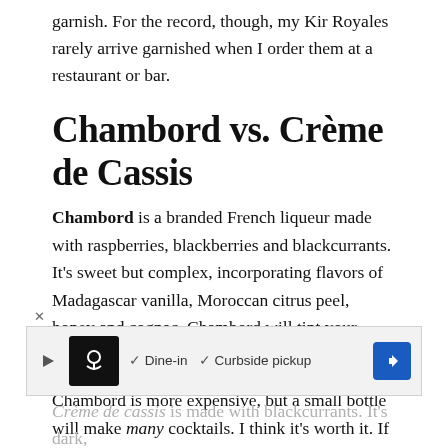garnish. For the record, though, my Kir Royales rarely arrive garnished when I order them at a restaurant or bar.
Chambord vs. Crème de Cassis
Chambord is a branded French liqueur made with raspberries, blackberries and blackcurrants. It's sweet but complex, incorporating flavors of Madagascar vanilla, Moroccan citrus peel, honey and cognac. Chambord will tint your Champagne a sophisticated peachy-rose color.
Chambord is more expensive, but a small bottle will make many cocktails. I think it's worth it. If you appreciate St. Germain, you'll also enjoy Chambord.
[Figure (other): Advertisement banner showing a restaurant logo with checkmarks for Dine-in and Curbside pickup options, and a blue navigation arrow icon.]
Crème de cassis is made with blackcurrants. It's dark,